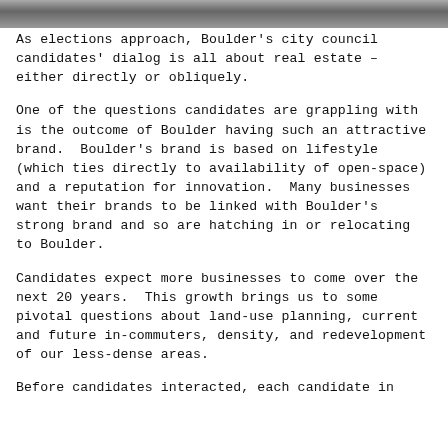[Figure (photo): Partial photo strip at top of page, appears to show a blurred or cropped image]
As elections approach, Boulder's city council candidates' dialog is all about real estate – either directly or obliquely.
One of the questions candidates are grappling with is the outcome of Boulder having such an attractive brand.  Boulder's brand is based on lifestyle (which ties directly to availability of open-space) and a reputation for innovation.  Many businesses want their brands to be linked with Boulder's strong brand and so are hatching in or relocating to Boulder.
Candidates expect more businesses to come over the next 20 years.  This growth brings us to some pivotal questions about land-use planning, current and future in-commuters, density, and redevelopment of our less-dense areas.
Before candidates interacted, each candidate in